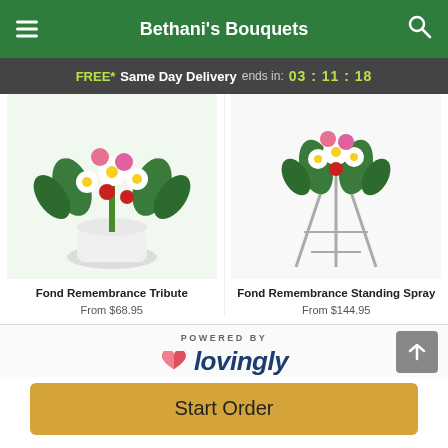Bethani's Bouquets
FREE* Same Day Delivery ends in: 03:11:18
[Figure (photo): Fond Remembrance Tribute floral arrangement in a white pot with pink carnations, white daisies, and green foliage]
Fond Remembrance Tribute
From $68.95
[Figure (photo): Fond Remembrance Standing Spray floral arrangement on a metal easel with white flowers and greenery]
Fond Remembrance Standing Spray
From $144.95
POWERED BY lovingly
Start Order